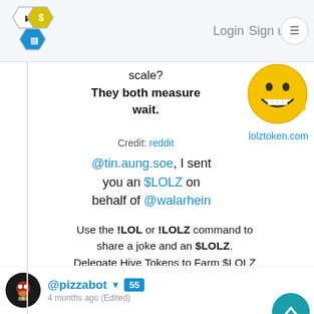Login  Sign up
scale?
They both measure wait.
[Figure (illustration): Laughing yellow emoji with thumbs up gesture]
lolztoken.com
Credit: reddit
@tin.aung.soe, I sent you an $LOLZ on behalf of @walarhein
Use the !LOL or !LOLZ command to share a joke and an $LOLZ. Delegate Hive Tokens to Farm $LOLZ and earn 110% Rewards. Learn more. (3/6)
0   0   0.000 CTP   Re
@pizzabot  55
4 months ago (Edited)